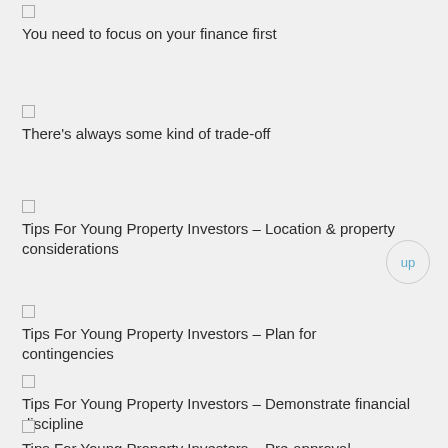You need to focus on your finance first
There's always some kind of trade-off
Tips For Young Property Investors – Location & property considerations
Tips For Young Property Investors – Plan for contingencies
Tips For Young Property Investors – Demonstrate financial discipline
Tips For Young Property Investors – Pre-approval